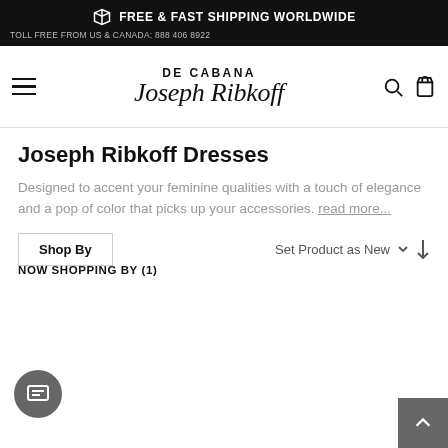FREE & FAST SHIPPING WORLDWIDE
TOLL FREE FROM US & CANADA: 888 406 8922
[Figure (logo): DE CABANA Joseph Ribkoff logo with hamburger menu and search/cart icons]
Joseph Ribkoff Dresses
Designed to accent your feminine qualities with a touch of elegance and a pop of color that picks up your accessories. read more...
Shop By
Set Product as New
NOW SHOPPING BY (1)